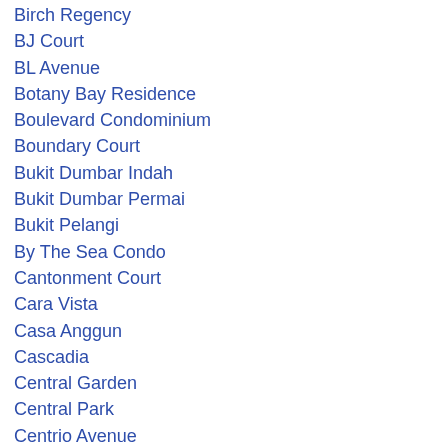Birch Regency
BJ Court
BL Avenue
Botany Bay Residence
Boulevard Condominium
Boundary Court
Bukit Dumbar Indah
Bukit Dumbar Permai
Bukit Pelangi
By The Sea Condo
Cantonment Court
Cara Vista
Casa Anggun
Cascadia
Central Garden
Central Park
Centrio Avenue
Century Bay